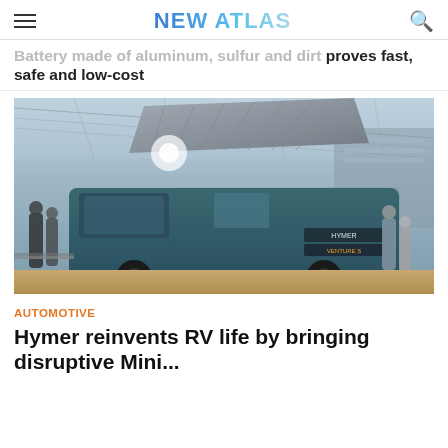NEW ATLAS
Battery made of aluminum, sulfur and dirt proves fast, safe and low-cost
[Figure (photo): Hymer VentureS camper van on display at an indoor exhibition hall. The teal/dark green van has a pop-up roof raised revealing a metallic accordion-style extension. Visitors and exhibitors are visible in the background under a large glass-roof structure.]
AUTOMOTIVE
Hymer reinvents RV life by bringing disruptive Mini...